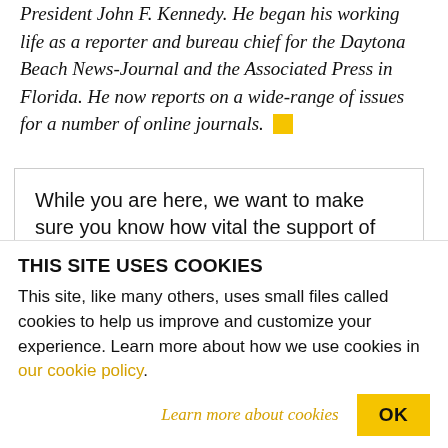President John F. Kennedy. He began his working life as a reporter and bureau chief for the Daytona Beach News-Journal and the Associated Press in Florida. He now reports on a wide-range of issues for a number of online journals. [yellow square]
While you are here, we want to make sure you know how vital the support of people like you is to our work.
Uncompromising and relentlessly critical
THIS SITE USES COOKIES
This site, like many others, uses small files called cookies to help us improve and customize your experience. Learn more about how we use cookies in our cookie policy.
Learn more about cookies